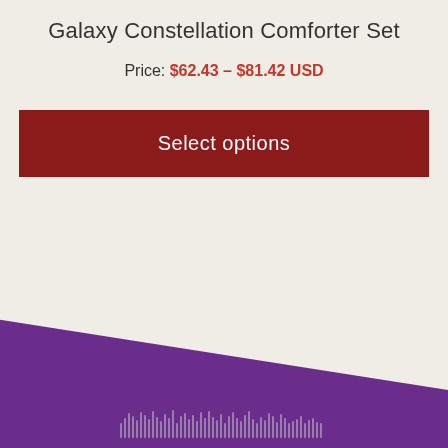Galaxy Constellation Comforter Set
Price: $62.43 – $81.42 USD
Select options
[Figure (photo): Purple comforter bedding product photo with diagonal composition showing deep purple fabric, and a small graphic detail at the bottom]